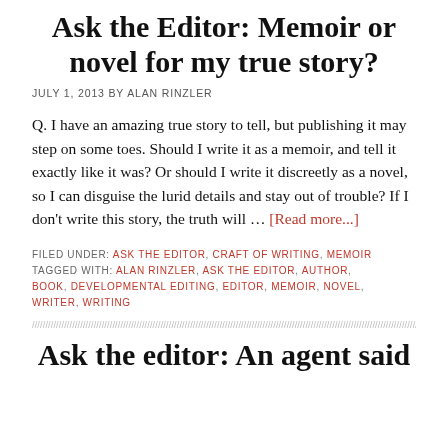Ask the Editor: Memoir or novel for my true story?
JULY 1, 2013 BY ALAN RINZLER
Q. I have an amazing true story to tell, but publishing it may step on some toes. Should I write it as a memoir, and tell it exactly like it was? Or should I write it discreetly as a novel, so I can disguise the lurid details and stay out of trouble? If I don't write this story, the truth will … [Read more...]
FILED UNDER: ASK THE EDITOR, CRAFT OF WRITING, MEMOIR
TAGGED WITH: ALAN RINZLER, ASK THE EDITOR, AUTHOR, BOOK, DEVELOPMENTAL EDITING, EDITOR, MEMOIR, NOVEL, WRITER, WRITING
Ask the editor: An agent said